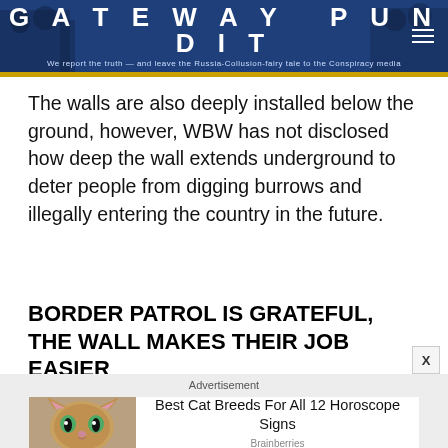GATEWAY PUNDIT — We report the truth — and leave the Russia-Collusion-fairy tale to the Conspiracy media
The walls are also deeply installed below the ground, however, WBW has not disclosed how deep the wall extends underground to deter people from digging burrows and illegally entering the country in the future.
BORDER PATROL IS GRATEFUL, THE WALL MAKES THEIR JOB EASIER
[Figure (screenshot): Advertisement card showing a cat photo with headline 'Best Cat Breeds For All 12 Horoscope Signs' from Brainberries]